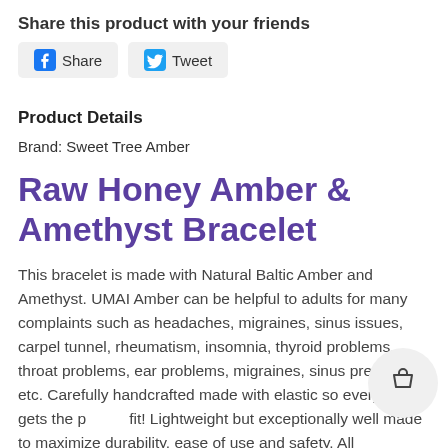Share this product with your friends
[Figure (other): Social share buttons: Facebook Share and Twitter Tweet]
Product Details
Brand: Sweet Tree Amber
Raw Honey Amber & Amethyst Bracelet
This bracelet is made with Natural Baltic Amber and Amethyst. UMAI Amber can be helpful to adults for many complaints such as headaches, migraines, sinus issues, carpel tunnel, rheumatism, insomnia, thyroid problems, throat problems, ear problems, migraines, sinus pressure, etc. Carefully handcrafted made with elastic so everybody gets the perfect fit! Lightweight but exceptionally well made to maximize durability, ease of use and safety. All